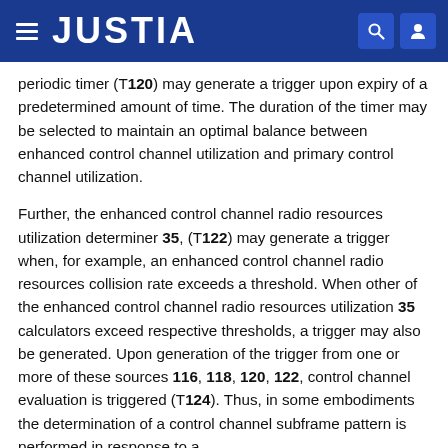JUSTIA
periodic timer (T120) may generate a trigger upon expiry of a predetermined amount of time. The duration of the timer may be selected to maintain an optimal balance between enhanced control channel utilization and primary control channel utilization.
Further, the enhanced control channel radio resources utilization determiner 35, (T122) may generate a trigger when, for example, an enhanced control channel radio resources collision rate exceeds a threshold. When other of the enhanced control channel radio resources utilization 35 calculators exceed respective thresholds, a trigger may also be generated. Upon generation of the trigger from one or more of these sources 116, 118, 120, 122, control channel evaluation is triggered (T124). Thus, in some embodiments the determination of a control channel subframe pattern is performed in response to a